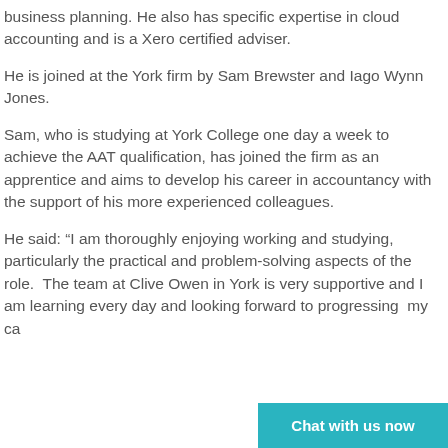business planning. He also has specific expertise in cloud accounting and is a Xero certified adviser.
He is joined at the York firm by Sam Brewster and Iago Wynn Jones.
Sam, who is studying at York College one day a week to achieve the AAT qualification, has joined the firm as an apprentice and aims to develop his career in accountancy with the support of his more experienced colleagues.
He said: “I am thoroughly enjoying working and studying, particularly the practical and problem-solving aspects of the role.  The team at Clive Owen in York is very supportive and I am learning every day and looking forward to progressing my ca…